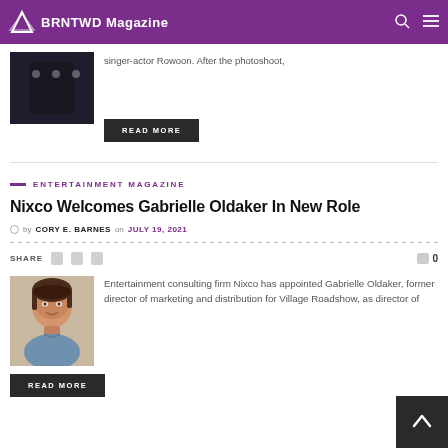BRNTWD Magazine
singer-actor Rowoon. After the photoshoot,
READ MORE
ENTERTAINMENT MAGAZINE
Nixco Welcomes Gabrielle Oldaker In New Role
by CORY E. BARNES on JULY 19, 2021
SHARE  0
[Figure (photo): Headshot photo of Gabrielle Oldaker, a woman with dark bangs smiling]
Entertainment consulting firm Nixco has appointed Gabrielle Oldaker, former director of marketing and distribution for Village Roadshow, as director of
READ MORE